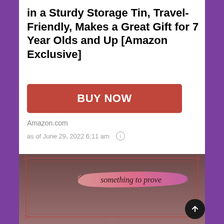in a Sturdy Storage Tin, Travel-Friendly, Makes a Great Gift for 7 Year Olds and Up [Amazon Exclusive]
[Figure (other): Red/coral BUY NOW button]
Amazon.com
as of June 29, 2022 6:11 am ⓘ
[Figure (photo): Product card image with dark brownish-purple background, red decorative border frame, and a pink/magenta brush stroke banner reading 'something to prove' in dark handwritten text]